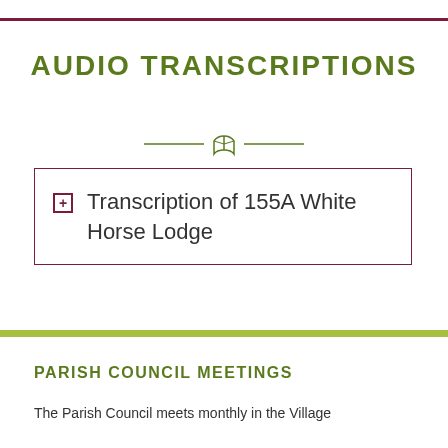AUDIO TRANSCRIPTIONS
[Figure (illustration): Decorative divider with an open book icon flanked by horizontal lines in olive green]
Transcription of 155A White Horse Lodge
PARISH COUNCIL MEETINGS
The Parish Council meets monthly in the Village